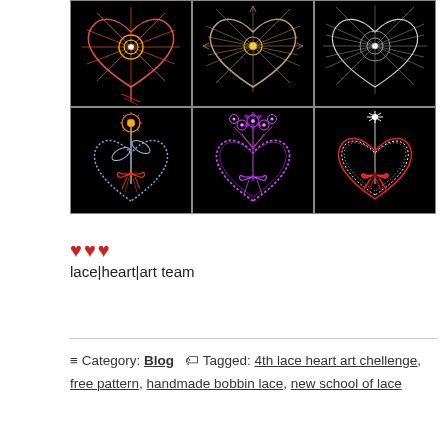[Figure (photo): A 2x3 grid of six artistic lace heart designs on black backgrounds. Top row: three heart designs with radiating starburst patterns in red/orange/rainbow, gold/tan, and white/silver. Bottom row: three heart designs with floral bouquets — orange flower with blue heart and red bow/tassel, purple flowers with pink/purple heart and purple bow, white flower with red-outlined heart and red bow.]
❤❤❤
lace|heart|art team
Category: Blog  Tagged: 4th lace heart art chellenge, free pattern, handmade bobbin lace, new school of lace